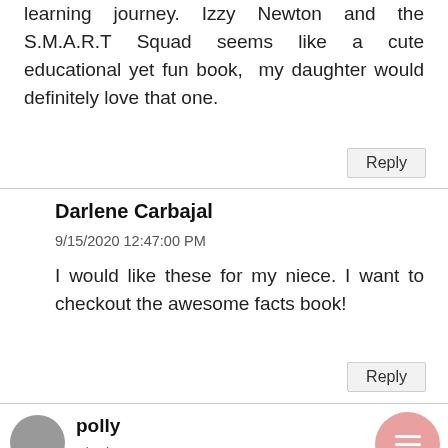learning journey. Izzy Newton and the S.M.A.R.T Squad seems like a cute educational yet fun book, my daughter would definitely love that one.
Reply
Darlene Carbajal
9/15/2020 12:47:00 PM
I would like these for my niece. I want to checkout the awesome facts book!
Reply
polly
9/15/2020 03:10:00 PM
I would love to win this for my grandson. He